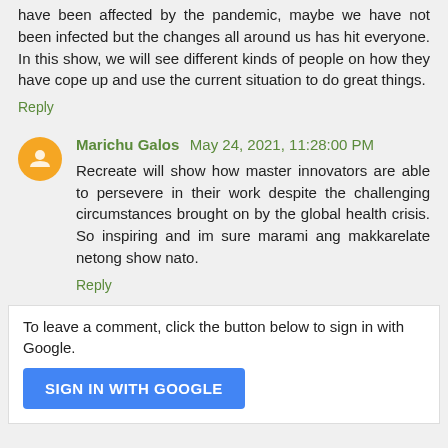have been affected by the pandemic, maybe we have not been infected but the changes all around us has hit everyone. In this show, we will see different kinds of people on how they have cope up and use the current situation to do great things.
Reply
Marichu Galos  May 24, 2021, 11:28:00 PM
Recreate will show how master innovators are able to persevere in their work despite the challenging circumstances brought on by the global health crisis. So inspiring and im sure marami ang makkarelate netong show nato.
Reply
To leave a comment, click the button below to sign in with Google.
SIGN IN WITH GOOGLE